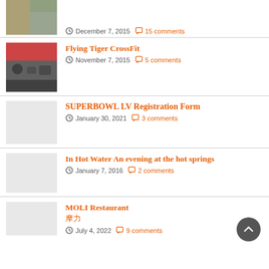[Figure (photo): Partial thumbnail of person in orange vest, top of page]
December 7, 2015  15 comments
[Figure (photo): Thumbnail of people exercising/CrossFit gym scene]
Flying Tiger CrossFit
November 7, 2015  5 comments
SUPERBOWL LV Registration Form
January 30, 2021  3 comments
In Hot Water An evening at the hot springs
January 7, 2016  2 comments
MOLI Restaurant 摩力
July 4, 2022  9 comments